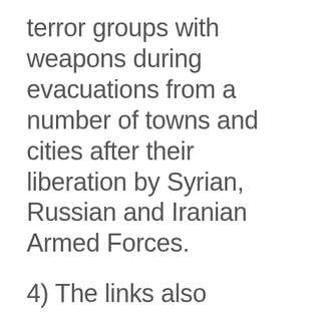terror groups with weapons during evacuations from a number of towns and cities after their liberation by Syrian, Russian and Iranian Armed Forces.
4) The links also provide examples of western media promoting and exploiting children in conjunction with the White Helmets and other nefarious ruse instigators conducting operations in Syria...